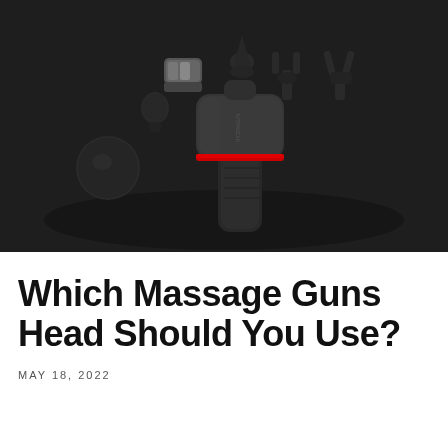[Figure (photo): A massage gun with multiple attachment heads displayed on a dark background. The gun is black with a red accent ring near the head attachment point. Various head attachments are arranged around the device including ball, cone, fork, and flat heads.]
Which Massage Guns Head Should You Use?
MAY 18, 2022